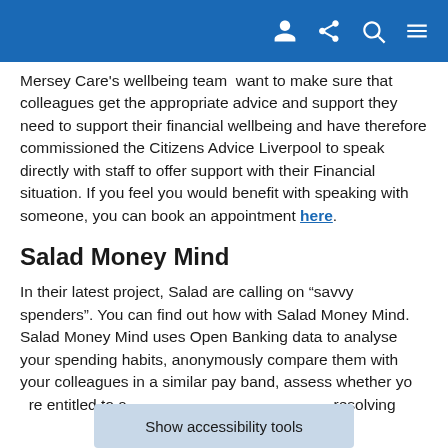[navigation icons: user, share, search, menu]
Mersey Care's wellbeing team  want to make sure that colleagues get the appropriate advice and support they need to support their financial wellbeing and have therefore commissioned the Citizens Advice Liverpool to speak directly with staff to offer support with their Financial situation. If you feel you would benefit with speaking with someone, you can book an appointment here.
Salad Money Mind
In their latest project, Salad are calling on “savvy spenders”. You can find out how with Salad Money Mind. Salad Money Mind uses Open Banking data to analyse your spending habits, anonymously compare them with your colleagues in a similar pay band, assess whether you are entitled to a resolving
Show accessibility tools